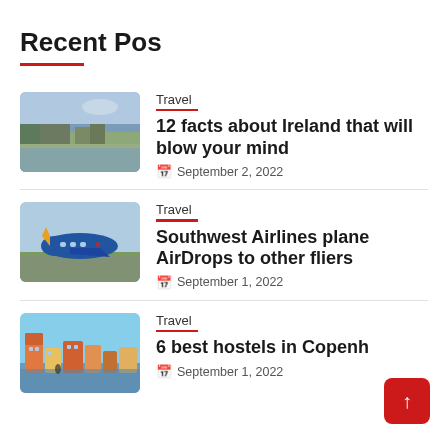Recent Pos
Travel | 12 facts about Ireland that will blow your mind | September 2, 2022
Travel | Southwest Airlines plane AirDrops to other fliers | September 1, 2022
Travel | 6 best hostels in Copenh... | September 1, 2022